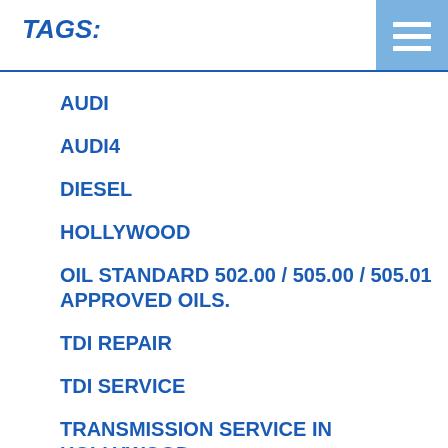TAGS:
AUDI
AUDI4
DIESEL
HOLLYWOOD
OIL STANDARD 502.00 / 505.00 / 505.01 APPROVED OILS.
TDI REPAIR
TDI SERVICE
TRANSMISSION SERVICE IN HOLLYWOOD
TURBO
VW
DASHBOARD DISPLAY